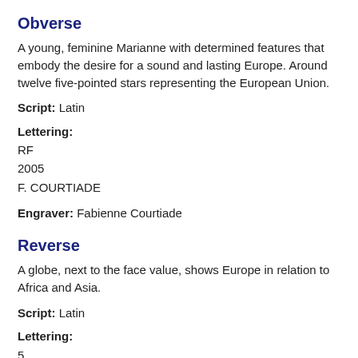Obverse
A young, feminine Marianne with determined features that embody the desire for a sound and lasting Europe. Around twelve five-pointed stars representing the European Union.
Script: Latin
Lettering:
RF
2005
F. COURTIADE
Engraver: Fabienne Courtiade
Reverse
A globe, next to the face value, shows Europe in relation to Africa and Asia.
Script: Latin
Lettering:
5
EURO
CENT